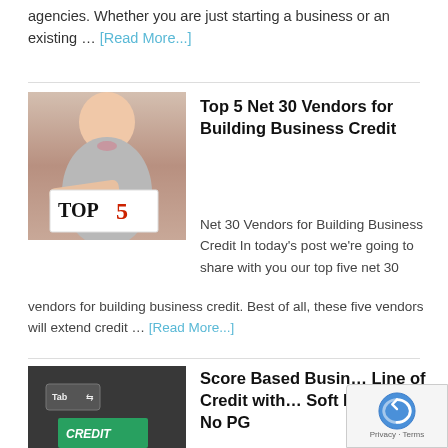agencies. Whether you are just starting a business or an existing … [Read More...]
[Figure (photo): Woman holding a sign that says TOP 5]
Top 5 Net 30 Vendors for Building Business Credit
Net 30 Vendors for Building Business Credit In today's post we're going to share with you our top five net 30 vendors for building business credit. Best of all, these five vendors will extend credit … [Read More...]
[Figure (photo): Keyboard with Tab key and credit key visible]
Score Based Business Line of Credit with Soft Pull and No PG